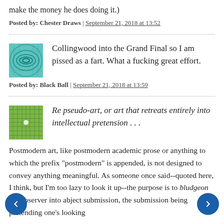make the money he does doing it.)
Posted by: Chester Draws | September 21, 2018 at 13:52
Collingwood into the Grand Final so I am pissed as a fart. What a fucking great effort.
Posted by: Black Ball | September 21, 2018 at 13:59
Re pseudo-art, or art that retreats entirely into intellectual pretension . . .
Postmodern art, like postmodern academic prose or anything to which the prefix "postmodern" is appended, is not designed to convey anything meaningful. As someone once said--quoted here, I think, but I'm too lazy to look it up--the purpose is to bludgeon the observer into abject submission, the submission being pretending one's looking